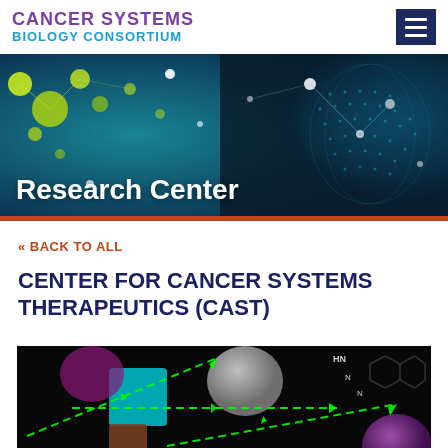CANCER SYSTEMS BIOLOGY CONSORTIUM
[Figure (photo): Hero banner with teal/dark blue background showing abstract network nodes, glowing dots, and digital globe imagery with text 'Research Center']
« BACK TO ALL
CENTER FOR CANCER SYSTEMS THERAPEUTICS (CAST)
[Figure (photo): Dark microscopy/scientific image with green dashed arrows connecting colored squares/blobs and a molecular structure (HN-N ring) visible in upper right corner]